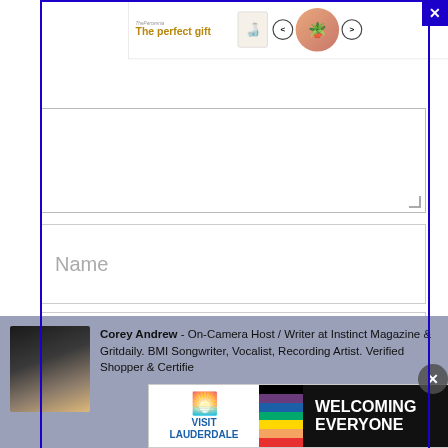[Figure (screenshot): Advertisement banner: The Percennia gift shop ad. Shows logo, 'The perfect gift' tagline in gold, product images of cookware, navigation arrows, and '35% OFF + FREE SHIPPING' CTA button in amber/gold.]
[Figure (screenshot): Web comment form with textarea, Name field, Email field, and dark blue 'Post Comment' button.]
Corey Andrew - On-Camera Host / Writer at Instinct Magazine & Gritdaily. BMI Songwriter, Vocalist, Recording Artist. Verified Shopper & Certified Consumer. Follow on Instagram
[Figure (screenshot): Visit Lauderdale advertisement with rainbow progress flag and 'WELCOMING EVERYONE' text on dark background.]